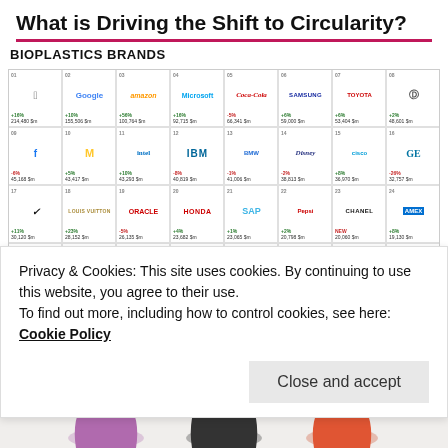What is Driving the Shift to Circularity?
BIOPLASTICS BRANDS
[Figure (infographic): Grid of brand logos ranked 01-32 showing brand value changes (percentage and dollar values). Brands include Apple, Google, Amazon, Microsoft, Coca-Cola, Samsung, Toyota, Mercedes-Benz, Facebook, McDonald's, Intel, IBM, BMW, Disney, Cisco, GE, Nike, Louis Vuitton, Oracle, Honda, SAP, Pepsi, Chanel, American Express, Zara, JP Morgan, IKEA, Gillette, UPS, H&M, Pampers, and others.]
Privacy & Cookies: This site uses cookies. By continuing to use this website, you agree to their use.
To find out more, including how to control cookies, see here: Cookie Policy
[Figure (photo): Three plastic shopping bags in purple, black, and red/orange colors at the bottom of the page.]